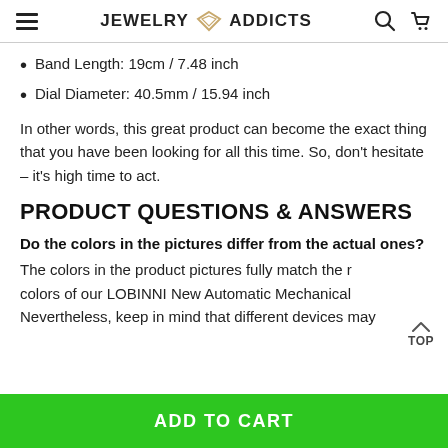JEWELRY ADDICTS
Band Length: 19cm / 7.48 inch
Dial Diameter: 40.5mm / 15.94 inch
In other words, this great product can become the exact thing that you have been looking for all this time. So, don't hesitate – it's high time to act.
PRODUCT QUESTIONS & ANSWERS
Do the colors in the pictures differ from the actual ones?
The colors in the product pictures fully match the r colors of our LOBINNI New Automatic Mechanical Nevertheless, keep in mind that different devices may